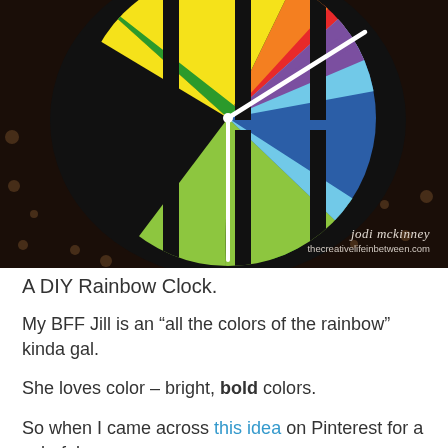[Figure (photo): A colorful DIY rainbow clock with rainbow-colored pie segments (red, orange, yellow, green, light green, blue, light blue, purple) on a circular clock face. The clock has white hands and is mounted on a dark brown textured background with decorative cutout patterns. A watermark reads 'jodi mckinney' and 'thecreativelifeinbetween.com' in the bottom right.]
A DIY Rainbow Clock.
My BFF Jill is an “all the colors of the rainbow” kinda gal.
She loves color – bright, bold colors.
So when I came across this idea on Pinterest for a colorful